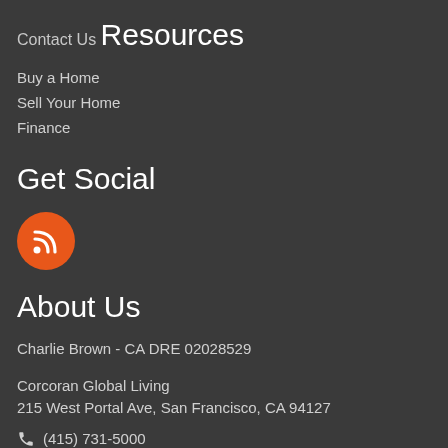Contact Us
Resources
Buy a Home
Sell Your Home
Finance
Get Social
[Figure (illustration): Orange circular RSS feed icon]
About Us
Charlie Brown - CA DRE 02028529
Corcoran Global Living
215 West Portal Ave, San Francisco, CA 94127
📞 (415) 731-5000